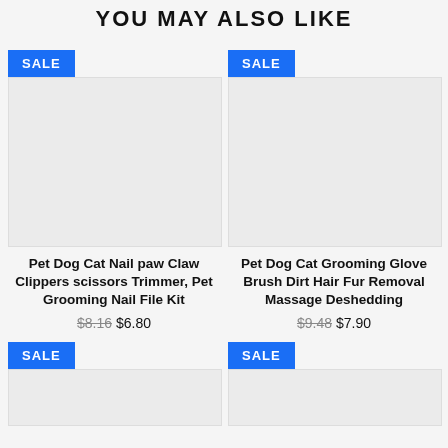YOU MAY ALSO LIKE
[Figure (photo): Product image placeholder for Pet Dog Cat Nail paw Claw Clippers scissors Trimmer, Pet Grooming Nail File Kit]
Pet Dog Cat Nail paw Claw Clippers scissors Trimmer, Pet Grooming Nail File Kit
$8.16 $6.80
[Figure (photo): Product image placeholder for Pet Dog Cat Grooming Glove Brush Dirt Hair Fur Removal Massage Deshedding]
Pet Dog Cat Grooming Glove Brush Dirt Hair Fur Removal Massage Deshedding
$9.48 $7.90